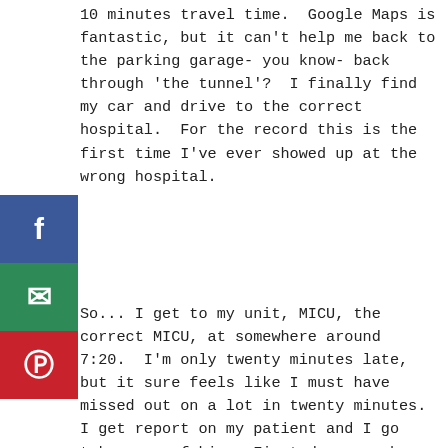10 minutes travel time.  Google Maps is fantastic, but it can't help me back to the parking garage- you know- back through 'the tunnel'?  I finally find my car and drive to the correct hospital.  For the record this is the first time I've ever showed up at the wrong hospital.
[Figure (other): Social sharing sidebar with Facebook (blue), Email (green), and Pinterest (red) buttons]
So... I get to my unit, MICU, the correct MICU, at somewhere around 7:20.  I'm only twenty minutes late, but it sure feels like I must have missed out on a lot in twenty minutes.  I get report on my patient and I go take care of him.  First days can be challenging anywhere- where's the med room, bathroom, crash cart, supplies- it feels as if you are running around trying to figure those things out.  And well, I felt a bit off kilter because of the way my day started out.  But I made it...